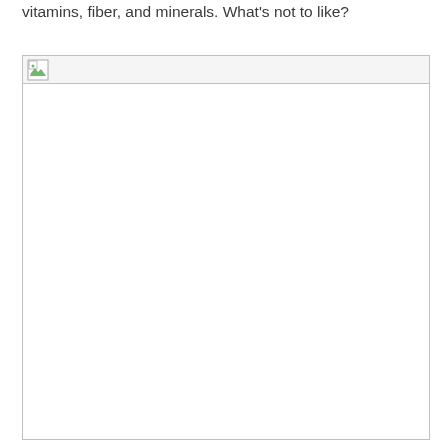vitamins, fiber, and minerals. What's not to like?
[Figure (photo): A placeholder image box with a broken image icon in the top-left corner, indicating a missing or unloaded image.]